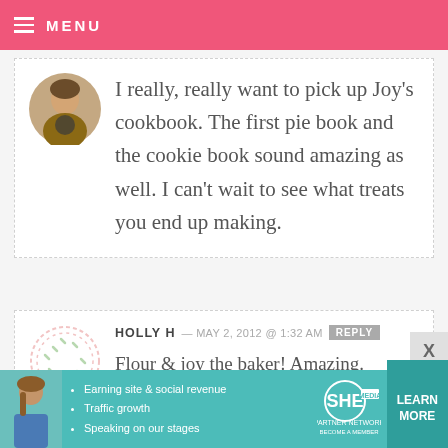MENU
I really, really want to pick up Joy’s cookbook. The first pie book and the cookie book sound amazing as well. I can’t wait to see what treats you end up making.
HOLLY H — MAY 2, 2012 @ 1:32 AM REPLY
Flour & joy the baker! Amazing.
[Figure (infographic): SHE Partner Network advertisement banner with a woman photo, bullet points about earning site & social revenue, traffic growth, speaking on our stages, with a LEARN MORE button]